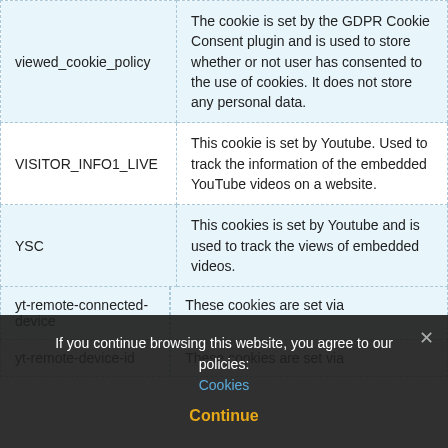| Cookie | Description |
| --- | --- |
| viewed_cookie_policy | The cookie is set by the GDPR Cookie Consent plugin and is used to store whether or not user has consented to the use of cookies. It does not store any personal data. |
| VISITOR_INFO1_LIVE | This cookie is set by Youtube. Used to track the information of the embedded YouTube videos on a website. |
| YSC | This cookies is set by Youtube and is used to track the views of embedded videos. |
| yt-remote-connected-device | These cookies are set via |
| yt-remote-device-id | These cookies are set via |
If you continue browsing this website, you agree to our policies: Cookies
Continue